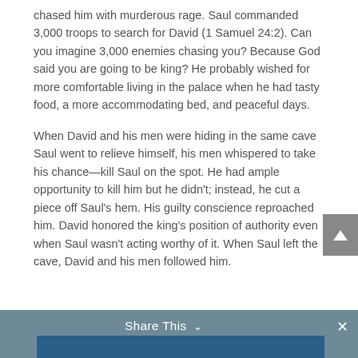chased him with murderous rage. Saul commanded 3,000 troops to search for David (1 Samuel 24:2). Can you imagine 3,000 enemies chasing you? Because God said you are going to be king? He probably wished for more comfortable living in the palace when he had tasty food, a more accommodating bed, and peaceful days.
When David and his men were hiding in the same cave Saul went to relieve himself, his men whispered to take his chance—kill Saul on the spot. He had ample opportunity to kill him but he didn't; instead, he cut a piece off Saul's hem. His guilty conscience reproached him. David honored the king's position of authority even when Saul wasn't acting worthy of it. When Saul left the cave, David and his men followed him.
Share This